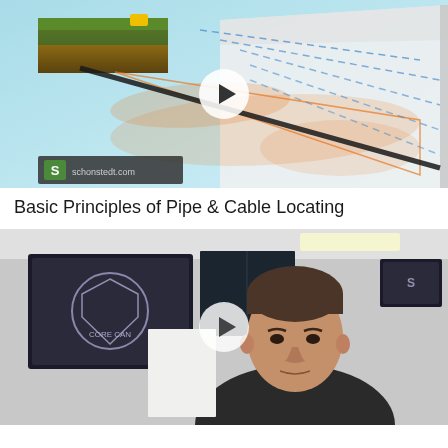[Figure (screenshot): Video thumbnail showing a 3D illustration of pipe and cable locating technology. A cross-section of ground with grass on top shows an underground pipe/cable with orange electromagnetic signal field radiating outward in a cone shape, with blue dashed lines indicating signal direction. A play button overlay is visible in the center. Bottom left shows an 'S' logo and 'schonstedt.com' watermark.]
Basic Principles of Pipe & Cable Locating
[Figure (screenshot): Video thumbnail showing a man (instructor) in a classroom or training room setting. He is wearing a dark jacket and looking slightly off-camera. Behind him is a monitor showing a logo with a shield/crest design and text 'CORE CAN'. Another monitor is visible to the right. A play button overlay is visible in the center of the image.]